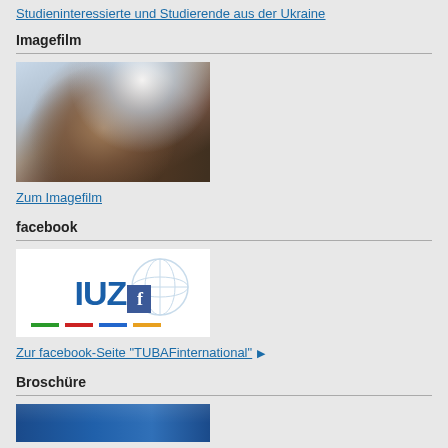Studieninteressierte und Studierende aus der Ukraine
Imagefilm
[Figure (photo): Photo of a woman looking upward against a bright outdoor background with sunlight and trees]
Zum Imagefilm
facebook
[Figure (logo): IUZ logo with globe graphic and Facebook icon, with colored line bar underneath]
Zur facebook-Seite "TUBAFinternational"
Broschüre
[Figure (photo): Partial view of a blue brochure cover for Technische Universität Bergakademie Freiberg international]